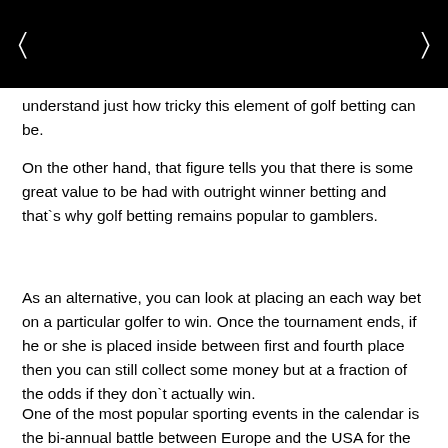[ ]
understand just how tricky this element of golf betting can be.
On the other hand, that figure tells you that there is some great value to be had with outright winner betting and that`s why golf betting remains popular to gamblers.
As an alternative, you can look at placing an each way bet on a particular golfer to win. Once the tournament ends, if he or she is placed inside between first and fourth place then you can still collect some money but at a fraction of the odds if they don`t actually win.
One of the most popular sporting events in the calendar is the bi-annual battle between Europe and the USA for the Ryder Cup and this competition provides the gambler with a